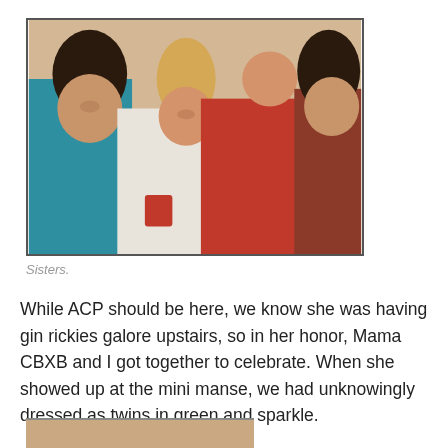[Figure (photo): Four women posing together and smiling. Woman on far left wearing teal/blue top, second woman with blonde hair in ponytail wearing white graphic tee, third woman with very short hair wearing red outfit, fourth woman on far right with dark hair wearing dark top.]
Sisters.
While ACP should be here, we know she was having gin rickies galore upstairs, so in her honor, Mama CBXB and I got together to celebrate. When she showed up at the mini manse, we had unknowingly dressed as twins in green and sparkle.
[Figure (photo): Partial view of another photo at the bottom of the page, cut off.]